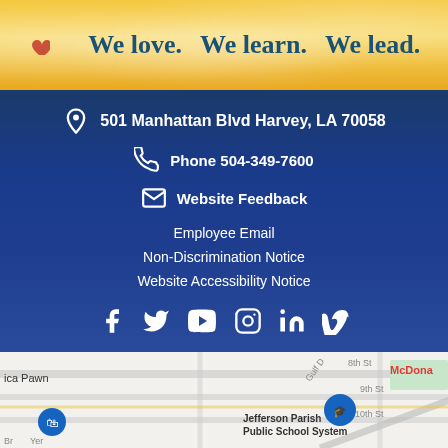[Figure (illustration): Header banner with gold/yellow gradient background and decorative circles. Cursive teal text reads 'We love. We learn. We lead.' with decorative icons (heart, sun, star).]
501 Manhattan Blvd Harvey, LA 70058
Phone 504-349-7600
Website Feedback
Employee Email
Non-Discrimination Notice
Website Accessibility Notice
[Figure (illustration): Social media icons row: Facebook, Twitter/X, YouTube, Instagram, LinkedIn, Vimeo - all white icons on dark blue background]
[Figure (map): Street map showing Jefferson Parish Public School System location near Manhattan Blvd, Harvey LA. Shows streets including 8th St, 9th St, 10th St, Gulf Dr. Partial labels for 'ica Pawn' and 'McDona' visible at edges.]